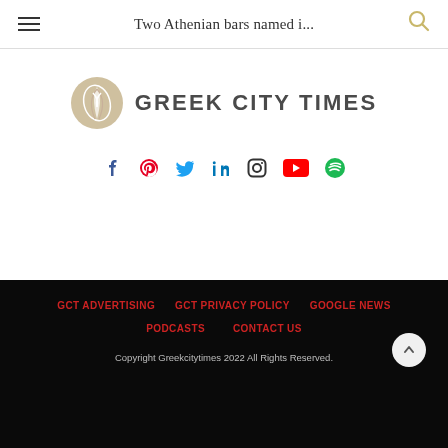Two Athenian bars named i...
[Figure (logo): Greek City Times logo with circular emblem containing leaf/feather design and text GREEK CITY TIMES]
[Figure (infographic): Social media icons row: Facebook, Pinterest, Twitter, LinkedIn, Instagram, YouTube, Spotify]
GCT ADVERTISING | GCT PRIVACY POLICY | GOOGLE NEWS | PODCASTS | CONTACT US | Copyright Greekcitytimes 2022 All Rights Reserved.